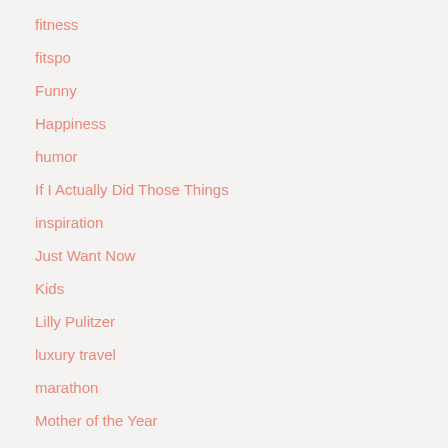fitness
fitspo
Funny
Happiness
humor
If I Actually Did Those Things
inspiration
Just Want Now
Kids
Lilly Pulitzer
luxury travel
marathon
Mother of the Year
motivation
One More Thing
One Of My Many Problems